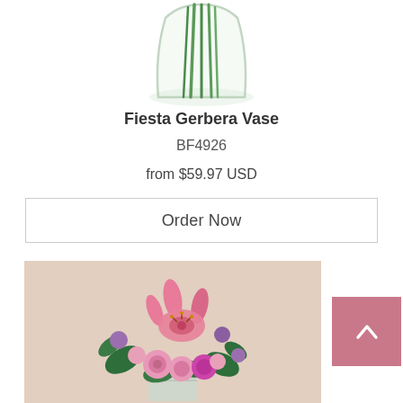[Figure (photo): Top portion of a clear glass vase with green stems visible, partially cropped at top of page]
Fiesta Gerbera Vase
BF4926
from $59.97 USD
Order Now
[Figure (photo): Floral arrangement of pink lilies, pink roses, purple flowers and green foliage in a clear glass vase on a beige background]